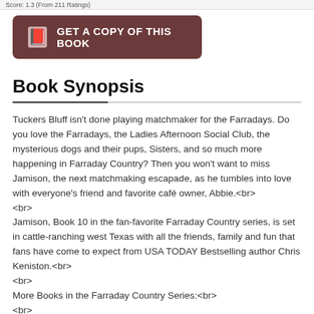Score: 1.3 (From 211 Ratings)
[Figure (other): Dark brown rounded button with book icon and text GET A COPY OF THIS BOOK]
Book Synopsis
Tuckers Bluff isn't done playing matchmaker for the Farradays. Do you love the Farradays, the Ladies Afternoon Social Club, the mysterious dogs and their pups, Sisters, and so much more happening in Farraday Country? Then you won't want to miss Jamison, the next matchmaking escapade, as he tumbles into love with everyone's friend and favorite café owner, Abbie.<br> <br> Jamison, Book 10 in the fan-favorite Farraday Country series, is set in cattle-ranching west Texas with all the friends, family and fun that fans have come to expect from USA TODAY Bestselling author Chris Keniston.<br> <br> More Books in the Farraday Country Series:<br> <br> Adam - Book 1<br>